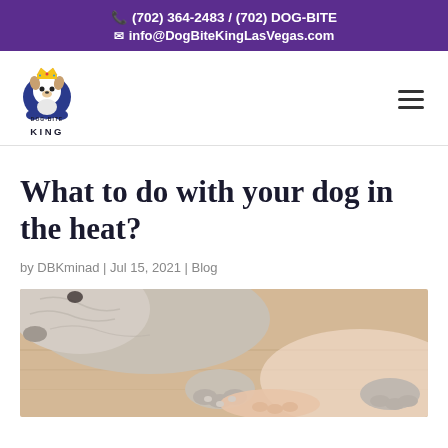(702) 364-2483 / (702) DOG-BITE
info@DogBiteKingLasVegas.com
[Figure (logo): Dog Bite King logo with cartoon dog character wearing a crown, text KING below]
What to do with your dog in the heat?
by DBKminad | Jul 15, 2021 | Blog
[Figure (photo): Close-up photo of a dog's paw and face resting on a wooden floor, with a human hand nearby]